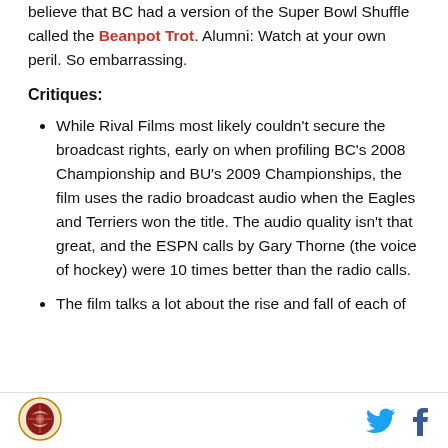believe that BC had a version of the Super Bowl Shuffle called the Beanpot Trot. Alumni: Watch at your own peril. So embarrassing.
Critiques:
While Rival Films most likely couldn't secure the broadcast rights, early on when profiling BC's 2008 Championship and BU's 2009 Championships, the film uses the radio broadcast audio when the Eagles and Terriers won the title. The audio quality isn't that great, and the ESPN calls by Gary Thorne (the voice of hockey) were 10 times better than the radio calls.
The film talks a lot about the rise and fall of each of
logo | twitter | facebook